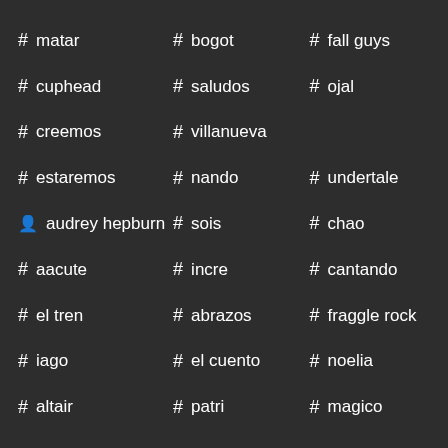# matar
# bogot
# fall guys
# cuphead
# saludos
# ojal
# creemos
# villanueva
# estaremos
# nando
# undertale
👤 audrey hepburn
# sois
# chao
# aacute
# incre
# cantando
# el tren
# abrazos
# fraggle rock
# iago
# el cuento
# noelia
# altair
# patri
# magico